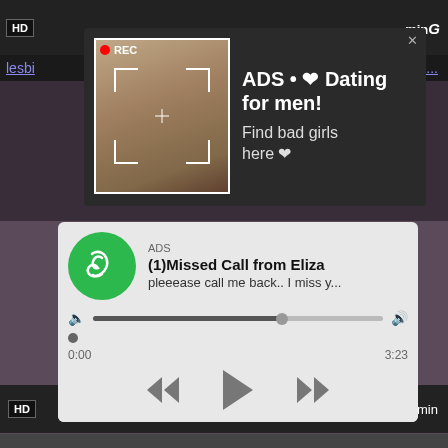[Figure (screenshot): Dark video player top bar with HD badge and REC indicator]
[Figure (advertisement): Dark popup ad overlay with woman's selfie photo, REC badge, focus brackets, text: ADS • ❤ Dating for men! Find bad girls here ❤]
lesbi
sy,...
[Figure (advertisement): Grey audio-player style ad: ADS, (1)Missed Call from Eliza, pleeease call me back.. I miss y..., progress bar, time 0:00 to 3:23, playback controls, green phone icon]
Hot Blow Job And Hardcore Hot Sucking
hardcore, hot, sucking, creampie, blowjob, real, homema...
[Figure (screenshot): Bottom dark video bar with HD badge and 5 min label]